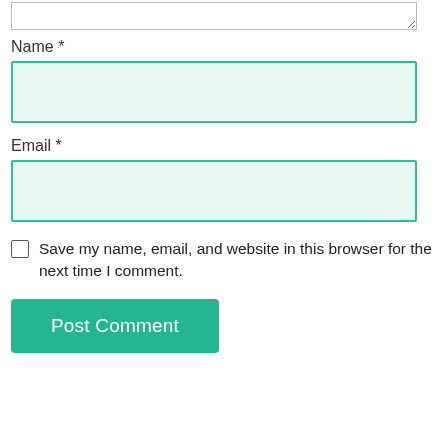Name *
[Figure (screenshot): Empty text input field with teal/mint border and background for Name]
Email *
[Figure (screenshot): Empty text input field with teal/mint border and background for Email]
[Figure (screenshot): Checkbox (unchecked) followed by label: Save my name, email, and website in this browser for the next time I comment.]
[Figure (screenshot): Green 'Post Comment' submit button]